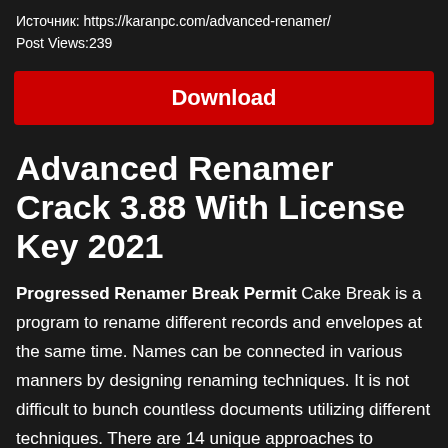Источник: https://karanpc.com/advanced-renamer/
Post Views:239
[Figure (other): Red Download button]
Advanced Renamer Crack 3.88 With License Key 2021
Progressed Renamer Break Permit Cake Break is a program to rename different records and envelopes at the same time. Names can be connected in various manners by designing renaming techniques. It is not difficult to bunch countless documents utilizing different techniques. There are 14 unique approaches to change record names, credits, and timestamps simultaneously. The documents can be duplicated or moved to new areas dependent on the data